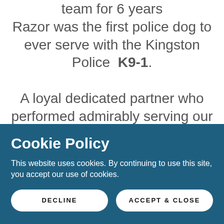team for 6 years
Razor was the first police dog to ever serve with the Kingston Police K9-1.

A loyal dedicated partner who performed admirably serving our Kingston community as a first responder that it was only fitting he be
Cookie Policy
This website uses cookies. By continuing to use this site, you accept our use of cookies.